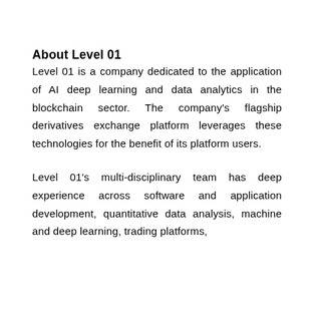About Level 01
Level 01 is a company dedicated to the application of AI deep learning and data analytics in the blockchain sector. The company's flagship derivatives exchange platform leverages these technologies for the benefit of its platform users.
Level 01's multi-disciplinary team has deep experience across software and application development, quantitative data analysis, machine and deep learning, trading platforms,